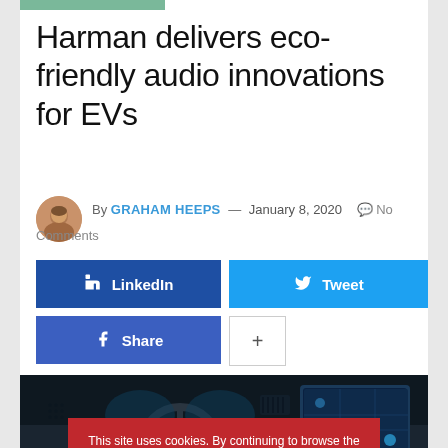Harman delivers eco-friendly audio innovations for EVs
By GRAHAM HEEPS — January 8, 2020  No Comments
[Figure (infographic): Social sharing buttons: LinkedIn, Tweet, Share (Facebook), and a plus button]
[Figure (photo): Car interior showing steering wheel and infotainment screen in dark lighting]
This site uses cookies. By continuing to browse the site you are agreeing to our use of cookies. Find out more here  [X]